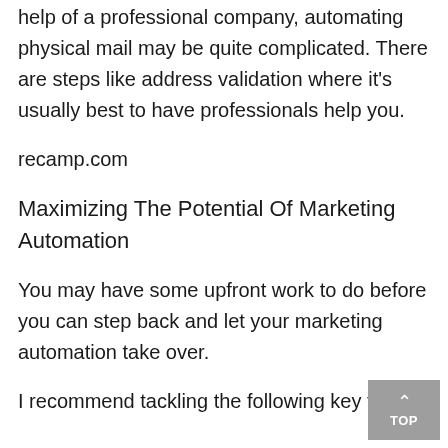help of a professional company, automating physical mail may be quite complicated. There are steps like address validation where it's usually best to have professionals help you.
recamp.com
Maximizing The Potential Of Marketing Automation
You may have some upfront work to do before you can step back and let your marketing automation take over.
I recommend tackling the following key tasks: